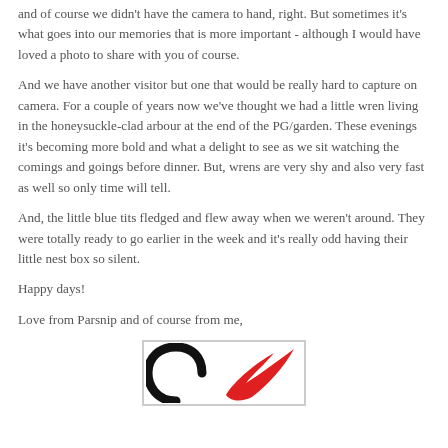and of course we didn't have the camera to hand, right. But sometimes it's what goes into our memories that is more important - although I would have loved a photo to share with you of course.
And we have another visitor but one that would be really hard to capture on camera. For a couple of years now we've thought we had a little wren living in the honeysuckle-clad arbour at the end of the PG/garden. These evenings it's becoming more bold and what a delight to see as we sit watching the comings and goings before dinner. But, wrens are very shy and also very fast as well so only time will tell.
And, the little blue tits fledged and flew away when we weren't around. They were totally ready to go earlier in the week and it's really odd having their little nest box so silent.
Happy days!
Love from Parsnip and of course from me,
[Figure (logo): A logo or illustration showing a black circular shape and a red bird/flame shape, partially visible at the bottom of the page.]